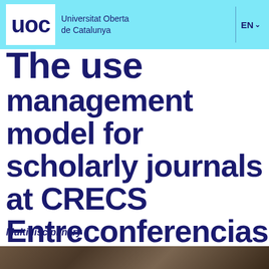Universitat Oberta de Catalunya | EN
The use management model for scholarly journals at CRECS Entreconferencias
Multidisciplinary
[Figure (photo): Background photo of books or printed materials, partially visible at the bottom of the page]